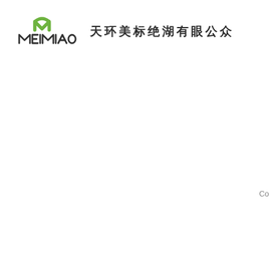[Figure (logo): MEIMIAO company logo with green M letter mark above stylized text, followed by Chinese company name 天环美标绝湖有眼公众]
Co